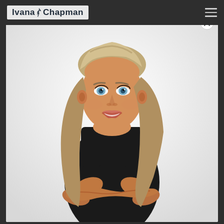Ivana S Chapman
[Figure (photo): Professional fitness photo of Ivana Chapman, a blonde woman in a black sleeveless top with arms crossed, smiling, against a white/light grey background. The image appears in a modal/lightbox overlay with a close (X) button in the upper right corner.]